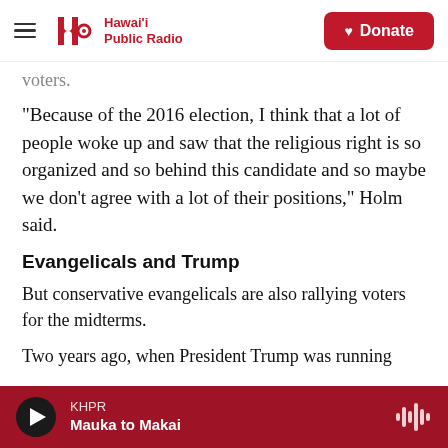Hawai'i Public Radio — Donate
voters.
"Because of the 2016 election, I think that a lot of people woke up and saw that the religious right is so organized and so behind this candidate and so maybe we don't agree with a lot of their positions," Holm said.
Evangelicals and Trump
But conservative evangelicals are also rallying voters for the midterms.
Two years ago, when President Trump was running
KHPR — Mauka to Makai